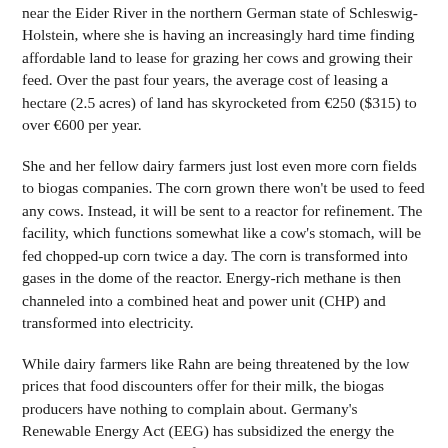near the Eider River in the northern German state of Schleswig-Holstein, where she is having an increasingly hard time finding affordable land to lease for grazing her cows and growing their feed. Over the past four years, the average cost of leasing a hectare (2.5 acres) of land has skyrocketed from €250 ($315) to over €600 per year.
She and her fellow dairy farmers just lost even more corn fields to biogas companies. The corn grown there won't be used to feed any cows. Instead, it will be sent to a reactor for refinement. The facility, which functions somewhat like a cow's stomach, will be fed chopped-up corn twice a day. The corn is transformed into gases in the dome of the reactor. Energy-rich methane is then channeled into a combined heat and power unit (CHP) and transformed into electricity.
While dairy farmers like Rahn are being threatened by the low prices that food discounters offer for their milk, the biogas producers have nothing to complain about. Germany's Renewable Energy Act (EEG) has subsidized the energy the biogas companies produce for 20 years.
Rahn is now forced to feed her cows soy meal from Brazil, which is constantly growing more expensive. She knows she will lose the battle over the raw materials, and she blames politicians for having "ruined us."